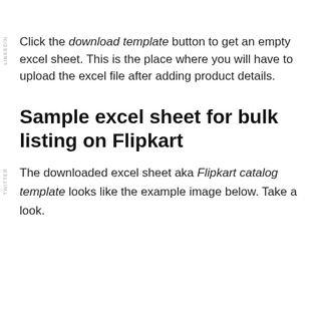Click the download template button to get an empty excel sheet. This is the place where you will have to upload the excel file after adding product details.
Sample excel sheet for bulk listing on Flipkart
The downloaded excel sheet aka Flipkart catalog template looks like the example image below. Take a look.